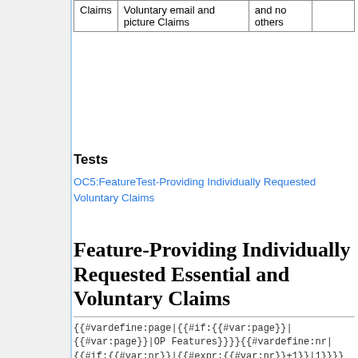| Claims | Voluntary email and picture Claims | and no others |
| --- | --- | --- |
Tests
OC5:FeatureTest-Providing Individually Requested Voluntary Claims
Feature-Providing Individually Requested Essential and Voluntary Claims
{{#vardefine:page|{{#if:{{#var:page}}|{{#var:page}}|OP Features}}}}{{#vardefine:nr|{{#if:{{#var:nr}}|{{#expr:{{#var:nr}}+1}}|1}}}}{{#vardefine:url|{{#replace:{{#var:page}}| | }}}}